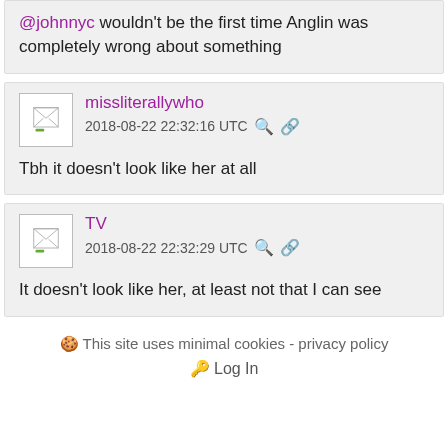@johnnyc wouldn't be the first time Anglin was completely wrong about something
missliterallywho
2018-08-22 22:32:16 UTC
Tbh it doesn't look like her at all
TV
2018-08-22 22:32:29 UTC
It doesn't look like her, at least not that I can see
This site uses minimal cookies - privacy policy
Log In